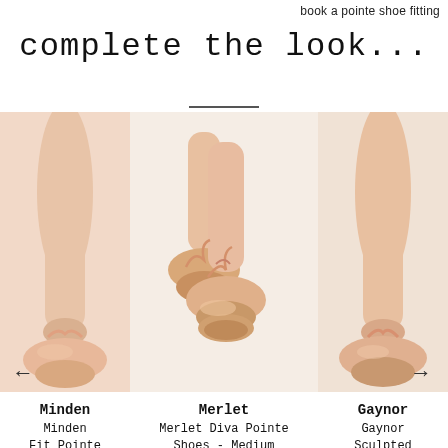book a pointe shoe fitting
complete the look...
[Figure (photo): Left: partial view of ballet dancer's leg in pointe shoes (cropped, left product card)]
[Figure (photo): Center: Merlet Diva Pointe Shoes - two pointe shoes on tiptoe against white background]
[Figure (photo): Right: partial view of ballet dancer's foot in Gaynor pointe shoes (cropped, right product card)]
Minden
Minden Fit Pointe Feather Shank High Vamp
Merlet
Merlet Diva Pointe Shoes - Medium Shank - Womens
$139.99 CAD
Gaynor
Gaynor Sculpted Shoes - E Shank Hi Deep Vamp